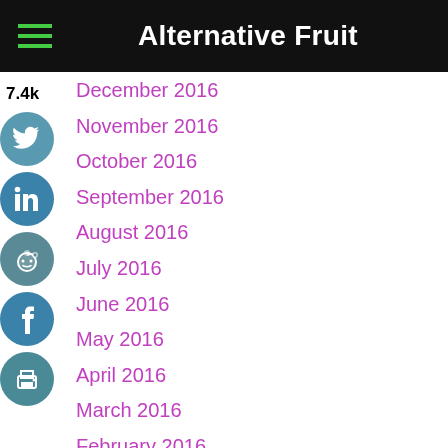Alternative Fruit
December 2016
November 2016
October 2016
September 2016
August 2016
July 2016
June 2016
May 2016
April 2016
March 2016
February 2016
January 2016
December 2015
November 2015
June 2015
February 2015